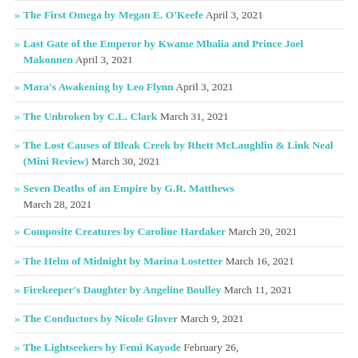The First Omega by Megan E. O'Keefe  April 3, 2021
Last Gate of the Emperor by Kwame Mbalia and Prince Joel Makonnen  April 3, 2021
Mara's Awakening by Leo Flynn  April 3, 2021
The Unbroken by C.L. Clark  March 31, 2021
The Lost Causes of Bleak Creek by Rhett McLaughlin & Link Neal (Mini Review)  March 30, 2021
Seven Deaths of an Empire by G.R. Matthews  March 28, 2021
Composite Creatures by Caroline Hardaker  March 20, 2021
The Helm of Midnight by Marina Lostetter  March 16, 2021
Firekeeper's Daughter by Angeline Boulley  March 11, 2021
The Conductors by Nicole Glover  March 9, 2021
The Lightseekers by Femi Kayode  February 26,